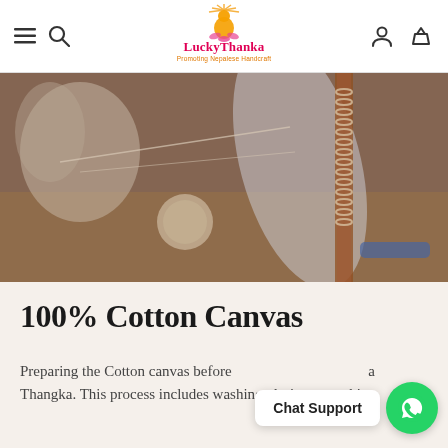LuckyThanka — Promoting Nepalese Handcraft
[Figure (photo): Close-up photo of cotton canvas being prepared and stretched, with thread/string visible, on a wooden surface with craft tools.]
100% Cotton Canvas
Preparing the Cotton canvas before painting is a vital preparation for a Thangka. This process includes washing, drying, stretching,